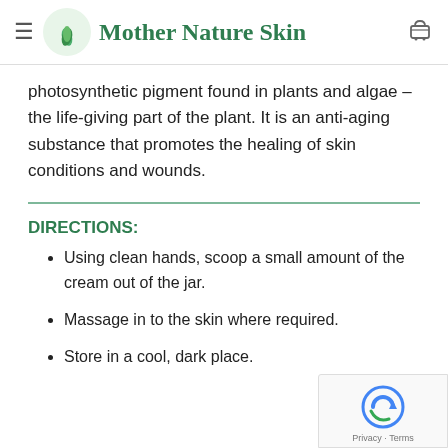Mother Nature Skin
photosynthetic pigment found in plants and algae – the life-giving part of the plant. It is an anti-aging substance that promotes the healing of skin conditions and wounds.
DIRECTIONS:
Using clean hands, scoop a small amount of the cream out of the jar.
Massage in to the skin where required.
Store in a cool, dark place.